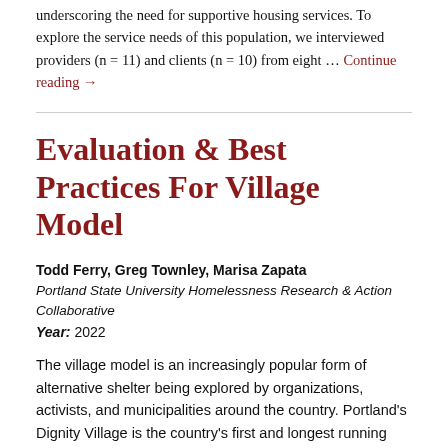underscoring the need for supportive housing services. To explore the service needs of this population, we interviewed providers (n = 11) and clients (n = 10) from eight … Continue reading →
Evaluation & Best Practices For Village Model
Todd Ferry, Greg Townley, Marisa Zapata
Portland State University Homelessness Research & Action Collaborative
Year: 2022
The village model is an increasingly popular form of alternative shelter being explored by organizations, activists, and municipalities around the country. Portland's Dignity Village is the country's first and longest running village, serving as a